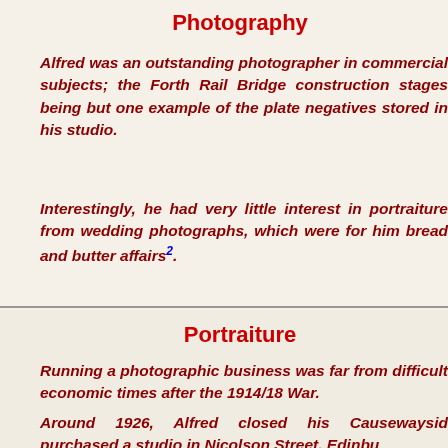Photography
Alfred was an outstanding photographer in commercial subjects; the Forth Rail Bridge construction stages being but one example of the plate negatives stored in his studio.
Interestingly, he had very little interest in portraiture from wedding photographs, which were for him bread and butter affairs².
Portraiture
Running a photographic business was far from easy, difficult economic times after the 1914/18 War.
Around 1926, Alfred closed his Causewaysid… purchased a studio in Nicolson Street, Edinbu…